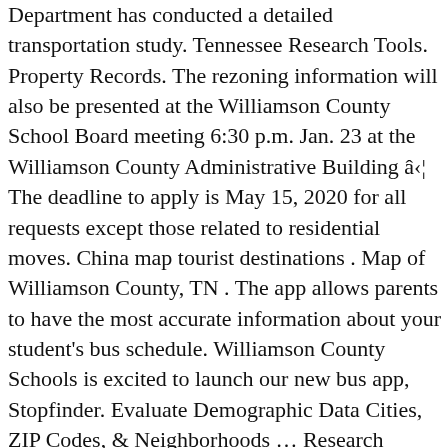Department has conducted a detailed transportation study. Tennessee Research Tools. Property Records. The rezoning information will also be presented at the Williamson County School Board meeting 6:30 p.m. Jan. 23 at the Williamson County Administrative Building â¦ The deadline to apply is May 15, 2020 for all requests except those related to residential moves. China map tourist destinations . Map of Williamson County, TN . The app allows parents to have the most accurate information about your student's bus schedule. Williamson County Schools is excited to launch our new bus app, Stopfinder. Evaluate Demographic Data Cities, ZIP Codes, & Neighborhoods … Research Neighborhoods Home Values, School Zones & Diversity Instant Data Access! This year, Williamson County jumped 1 slots in our statewide ranking, and ranks better than 97.9%